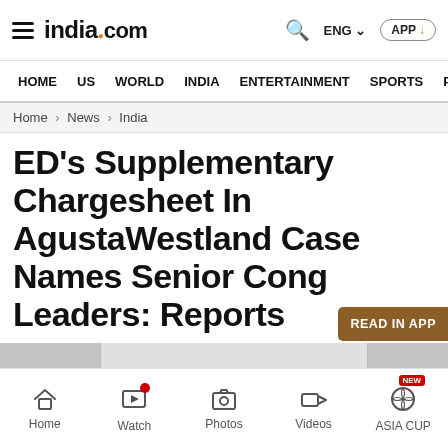india.com — ENG — APP
HOME  US  WORLD  INDIA  ENTERTAINMENT  SPORTS  PHO
Home > News > India
ED's Supplementary Chargesheet In AgustaWestland Case Names Senior Cong Leaders: Reports
Home  Watch  Photos  Videos  ASIA CUP